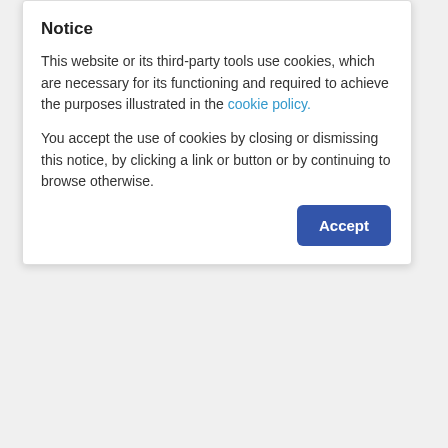Notice
This website or its third-party tools use cookies, which are necessary for its functioning and required to achieve the purposes illustrated in the cookie policy.
You accept the use of cookies by closing or dismissing this notice, by clicking a link or button or by continuing to browse otherwise.
[Figure (screenshot): Accept button (blue rounded rectangle) in the cookie notice dialog]
[Figure (screenshot): Green signup button partially visible below the cookie notice overlay]
Login Now
No replies yet.
[Figure (screenshot): Reply Now button (blue rounded rectangle)]